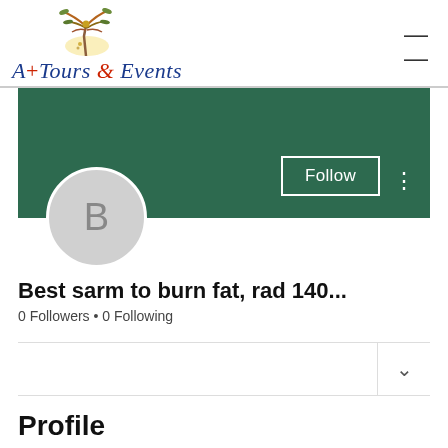[Figure (logo): A+ Tours & Events logo with palm tree illustration and stylized cursive text]
[Figure (screenshot): Green cover banner with Follow button and three-dot menu icon, and circular avatar placeholder showing letter B]
Best sarm to burn fat, rad 140...
0 Followers • 0 Following
Profile